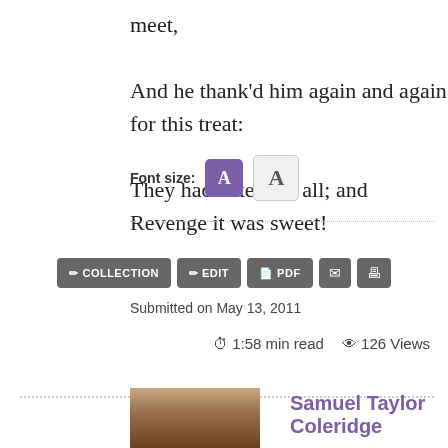meet,
And he thank'd him again and again for this treat:
They had taken his all; and Revenge it was sweet!
Font size: A A
COLLECTION  EDIT  PDF
Submitted on May 13, 2011
1:58 min read   126 Views
Samuel Taylor Coleridge